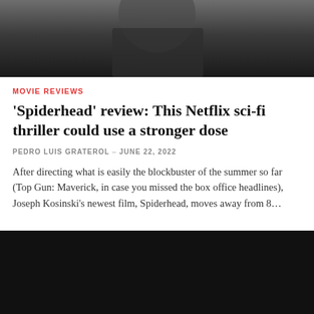[Figure (photo): Close-up photo of a person in dark clothing, cropped to show upper body/neck area, dark background]
MOVIE REVIEWS
'Spiderhead' review: This Netflix sci-fi thriller could use a stronger dose
PEDRO LUIS GRATEROL – JUNE 22, 2022
After directing what is easily the blockbuster of the summer so far (Top Gun: Maverick, in case you missed the box office headlines), Joseph Kosinski's newest film, Spiderhead, moves away from 8…
[Figure (photo): Dark/black video or image thumbnail, mostly black with a scroll-up arrow button in bottom right corner]